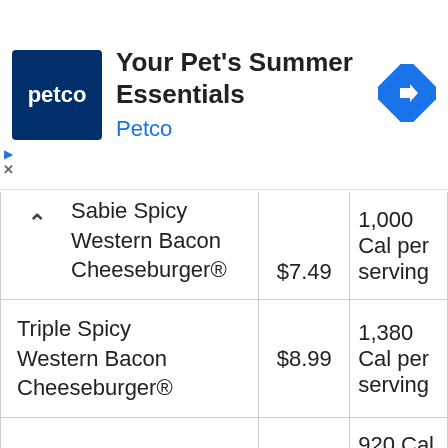[Figure (other): Petco advertisement banner: Petco logo (dark blue square with 'petco' text in white), headline 'Your Pet's Summer Essentials', brand name 'Petco' in blue, and a blue diamond navigation arrow icon on the right.]
| Item | Price | Calories |
| --- | --- | --- |
| Sadie Spicy Western Bacon Cheeseburger® | $7.49 | 1,000 Cal per serving |
| Triple Spicy Western Bacon Cheeseburger® | $8.99 | 1,380 Cal per serving |
| The Big Hardee® | $6.24 | 920 Cal per serving |
| Big Cheeseburger | $7.49 | 540 Cal per serving |